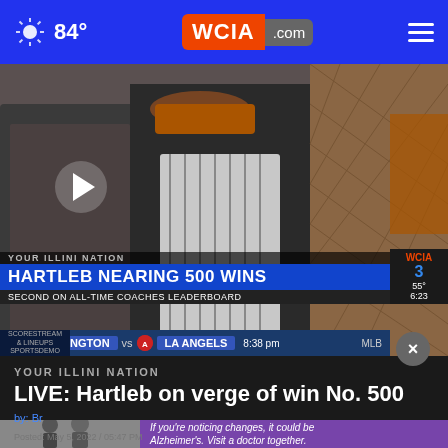84° WCIA.com
[Figure (screenshot): Video thumbnail of baseball players with lower-third graphic reading 'YOUR ILLINI NATION — HARTLEB NEARING 500 WINS / SECOND ON ALL-TIME COACHES LEADERBOARD' and sports ticker showing Washington vs LA Angels, 8:38pm, MLB. WCIA 3 bug shows 55° 6:23.]
YOUR ILLINI NATION
LIVE: Hartleb on verge of win No. 500
by: Br... Posted: May 5, 2022 / 05:47 PM CDT Updated: May 5, 2022 / 07:47 PM CDT
[Figure (photo): Two people walking outdoors, partially visible at bottom of page]
If you're noticing changes, it could be Alzheimer's. Visit a doctor together.